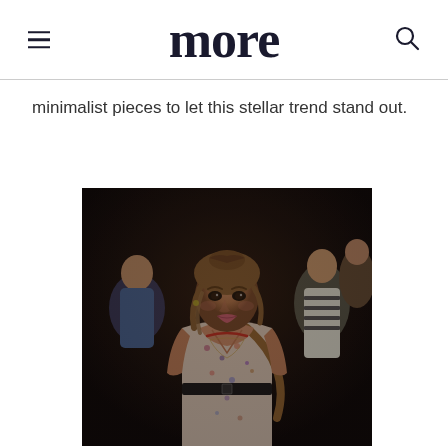more
minimalist pieces to let this stellar trend stand out.
[Figure (photo): Young woman with braided updo hairstyle wearing a floral halter dress with a brown crossbody bag and black belt, photographed at what appears to be an outdoor festival or party event at night, surrounded by other partygoers in the background.]